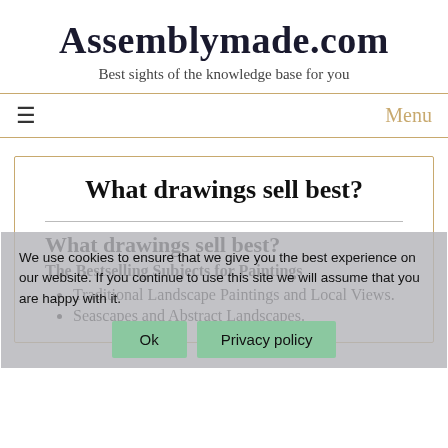Assemblymade.com
Best sights of the knowledge base for you
≡   Menu
What drawings sell best?
What drawings sell best?
The Bestselling Subjects for Paintings
Traditional Landscape Paintings and Local Views.
Seascapes and Abstract Landscapes.
We use cookies to ensure that we give you the best experience on our website. If you continue to use this site we will assume that you are happy with it.
Ok   Privacy policy